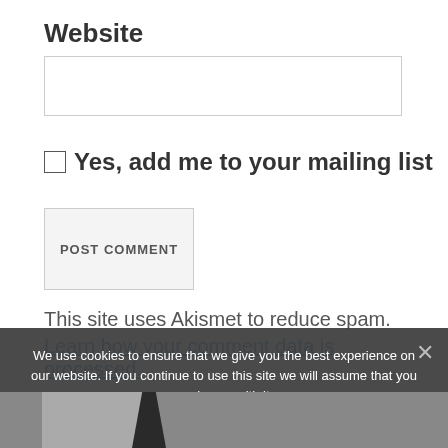Website
Yes, add me to your mailing list
POST COMMENT
This site uses Akismet to reduce spam. Learn how your comment data is processed.
We use cookies to ensure that we give you the best experience on our website. If you continue to use this site we will assume that you are happy with it.
OK
[Figure (photo): Partial photo visible at bottom of page beneath cookie overlay]